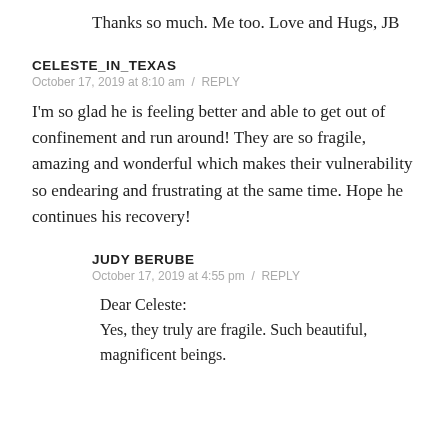Thanks so much. Me too. Love and Hugs, JB
CELESTE_IN_TEXAS
October 17, 2019 at 8:10 am / REPLY
I'm so glad he is feeling better and able to get out of confinement and run around! They are so fragile, amazing and wonderful which makes their vulnerability so endearing and frustrating at the same time. Hope he continues his recovery!
JUDY BERUBE
October 17, 2019 at 4:55 pm / REPLY
Dear Celeste:
Yes, they truly are fragile. Such beautiful, magnificent beings.